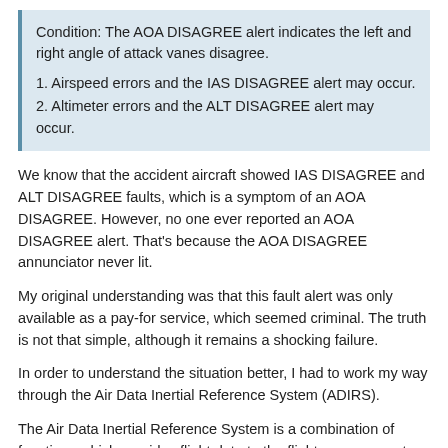Condition: The AOA DISAGREE alert indicates the left and right angle of attack vanes disagree.
1. Airspeed errors and the IAS DISAGREE alert may occur.
2. Altimeter errors and the ALT DISAGREE alert may occur.
We know that the accident aircraft showed IAS DISAGREE and ALT DISAGREE faults, which is a symptom of an AOA DISAGREE. However, no one ever reported an AOA DISAGREE alert. That's because the AOA DISAGREE annunciator never lit.
My original understanding was that this fault alert was only available as a pay-for service, which seemed criminal. The truth is not that simple, although it remains a shocking failure.
In order to understand the situation better, I had to work my way through the Air Data Inertial Reference System (ADIRS).
The Air Data Inertial Reference System is a combination of functions which provides flight data to the flight management computers, the flight and engine controls, the flight deck display panels and any other system requiring inertial reference information and air data.